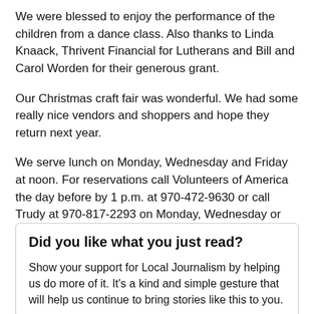We were blessed to enjoy the performance of the children from a dance class. Also thanks to Linda Knaack, Thrivent Financial for Lutherans and Bill and Carol Worden for their generous grant.
Our Christmas craft fair was wonderful. We had some really nice vendors and shoppers and hope they return next year.
We serve lunch on Monday, Wednesday and Friday at noon. For reservations call Volunteers of America the day before by 1 p.m. at 970-472-9630 or call Trudy at 970-817-2293 on Monday, Wednesday or Friday between 10 a.m. and 1 p.m. for information on other activities.
Did you like what you just read?
Show your support for Local Journalism by helping us do more of it. It's a kind and simple gesture that will help us continue to bring stories like this to you.